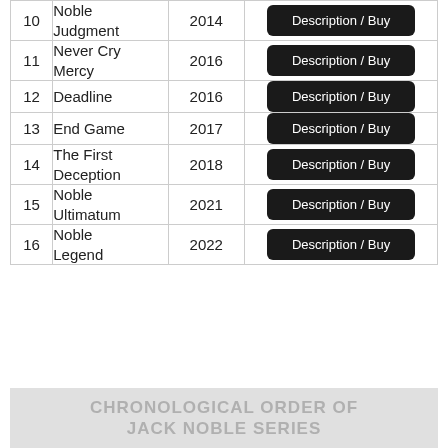| # | Title | Year |  |
| --- | --- | --- | --- |
| 10 | Noble Judgment | 2014 | Description / Buy |
| 11 | Never Cry Mercy | 2016 | Description / Buy |
| 12 | Deadline | 2016 | Description / Buy |
| 13 | End Game | 2017 | Description / Buy |
| 14 | The First Deception | 2018 | Description / Buy |
| 15 | Noble Ultimatum | 2021 | Description / Buy |
| 16 | Noble Legend | 2022 | Description / Buy |
CHRONOLOGICAL ORDER OF JACK NOBLE SERIES